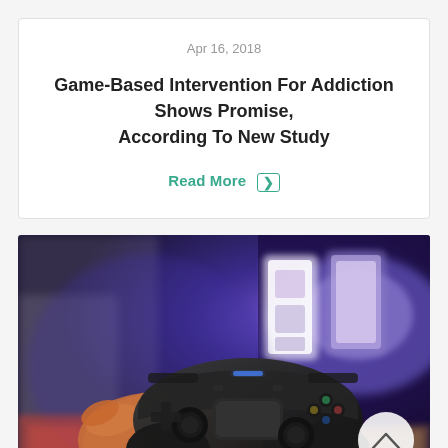Apr 16, 2018
Game-Based Intervention For Addiction Shows Promise, According To New Study
Read More ❯
[Figure (photo): A hand holding a black PlayStation DualShock controller in front of a blurred TV screen displaying glowing blue/purple light, gaming setup in background.]